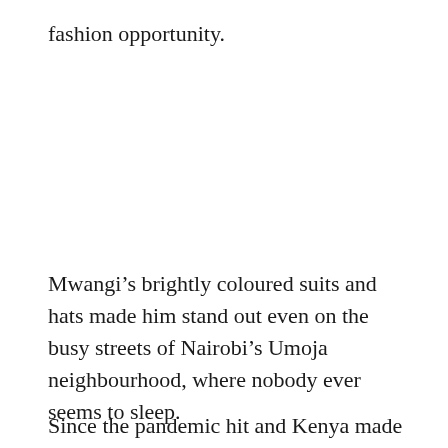fashion opportunity.
Mwangi’s brightly coloured suits and hats made him stand out even on the busy streets of Nairobi’s Umoja neighbourhood, where nobody ever seems to sleep.
Since the pandemic hit and Kenya made face masks